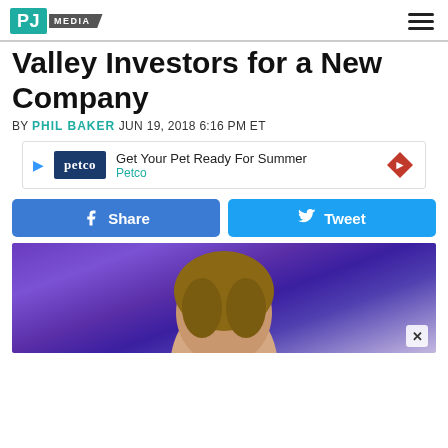PJ MEDIA
Valley Investors for a New Company
BY PHIL BAKER JUN 19, 2018 6:16 PM ET
[Figure (other): Petco advertisement: Get Your Pet Ready For Summer - Petco]
[Figure (other): Social sharing buttons: Share (Facebook) and Tweet (Twitter)]
[Figure (photo): Photo of a woman looking upward against a purple background]